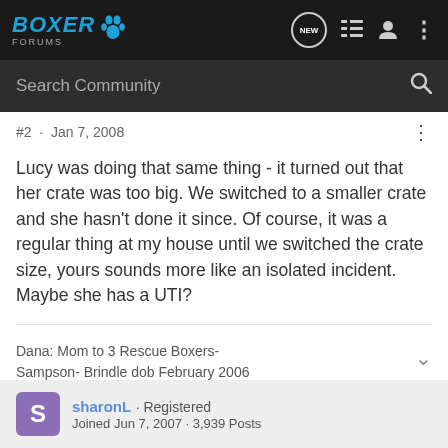BOXER FORUMS
#2 · Jan 7, 2008
Lucy was doing that same thing - it turned out that her crate was too big. We switched to a smaller crate and she hasn't done it since. Of course, it was a regular thing at my house until we switched the crate size, yours sounds more like an isolated incident. Maybe she has a UTI?
Dana: Mom to 3 Rescue Boxers- Sampson- Brindle dob February 2006
sharonL · Registered
Joined Jun 7, 2007 · 3,939 Posts